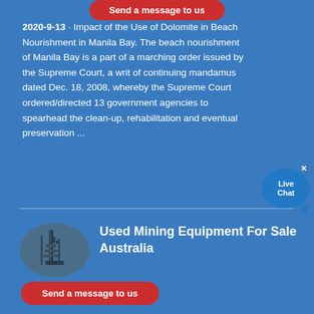Send a message to us
2020-9-13 · Impact of the Use of Dolomite in Beach Nourishment in Manila Bay. The beach nourishment of Manila Bay is a part of a marching order issued by the Supreme Court, a writ of continuing mandamus dated Dec. 18, 2008, whereby the Supreme Court ordered/directed 13 government agencies to spearhead the clean-up, rehabilitation and eventual preservation ...
[Figure (illustration): Oval thumbnail image of industrial/mining equipment or refinery tower against a blue background]
Used Mining Equipment For Sale Australia
Send a message to us
2021-11-26 · Mining Equipment for Sale in Australia. With a network of domestic and global suppliers, we specialise in supplying